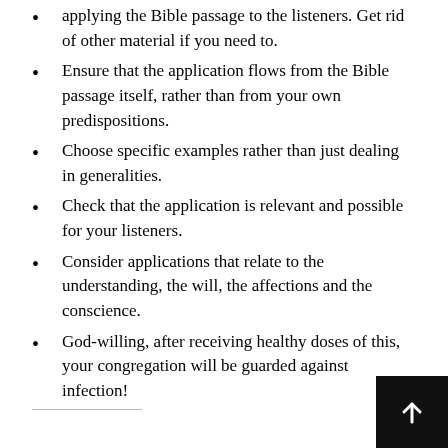applying the Bible passage to the listeners. Get rid of other material if you need to.
Ensure that the application flows from the Bible passage itself, rather than from your own predispositions.
Choose specific examples rather than just dealing in generalities.
Check that the application is relevant and possible for your listeners.
Consider applications that relate to the understanding, the will, the affections and the conscience.
God-willing, after receiving healthy doses of this, your congregation will be guarded against infection!